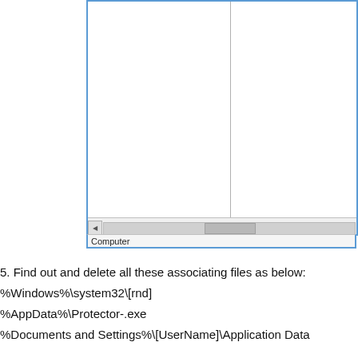[Figure (screenshot): A Windows Explorer-style window showing a two-pane file browser. The left pane has a blue border on the left side. A horizontal scrollbar is visible at the bottom of the right pane. A status bar at the bottom shows the label 'Computer'.]
5. Find out and delete all these associating files as below:
%Windows%\system32\[rnd]
%AppData%\Protector-.exe
%Documents and Settings%\[UserName]\Application Data